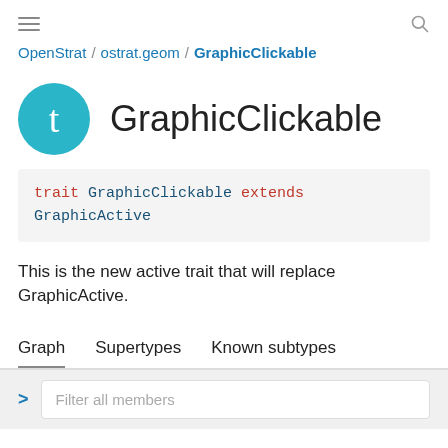Menu | Search
OpenStrat / ostrat.geom / GraphicClickable
GraphicClickable
This is the new active trait that will replace GraphicActive.
Graph   Supertypes   Known subtypes
Filter all members